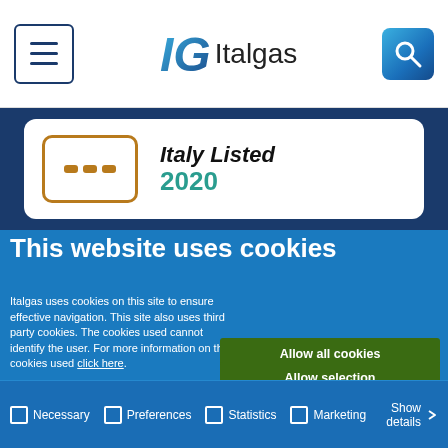Italgas — Navigation header with menu, logo and search
[Figure (screenshot): Italgas website header showing menu button, IG Italgas logo, and search button. Below is a card showing 'Italy Listed 2020' with a grid/card icon in orange border.]
This website uses cookies
Italgas uses cookies on this site to ensure effective navigation. This site also uses third party cookies. The cookies used cannot identify the user. For more information on the cookies used click here.
Allow all cookies
Allow selection
Use necessary cookies only
Necessary
Preferences
Statistics
Marketing
Show details